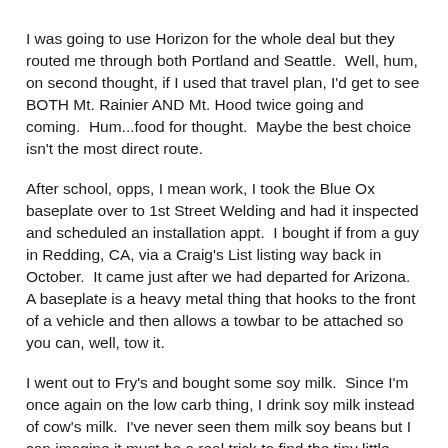I was going to use Horizon for the whole deal but they routed me through both Portland and Seattle.  Well, hum, on second thought, if I used that travel plan, I'd get to see BOTH Mt. Rainier AND Mt. Hood twice going and coming.  Hum...food for thought.  Maybe the best choice isn't the most direct route.
After school, opps, I mean work, I took the Blue Ox baseplate over to 1st Street Welding and had it inspected and scheduled an installation appt.  I bought if from a guy in Redding, CA, via a Craig's List listing way back in October.  It came just after we had departed for Arizona.  A baseplate is a heavy metal thing that hooks to the front of a vehicle and then allows a towbar to be attached so you can, well, tow it.
I went out to Fry's and bought some soy milk.  Since I'm once again on the low carb thing, I drink soy milk instead of cow's milk.  I've never seen them milk soy beans but I can imagine it must be a real trick to find the tiny little udder and coax out the milk from the beans.  I often wonder if they only hire midgets for that job.  Some things I guess we will never